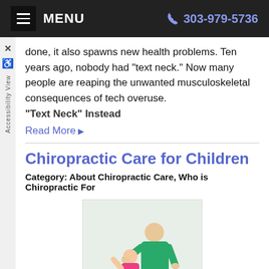MENU  303-979-5736
done, it also spawns new health problems. Ten years ago, nobody had “text neck.” Now many people are reaping the unwanted musculoskeletal consequences of tech overuse.
Text Neck” Instead
Read More
Chiropractic Care for Children
Category: About Chiropractic Care, Who is Chiropractic For
[Figure (photo): A chiropractor in green scrubs performing an adjustment on a young girl in a pink shirt]
Many people think that chiropractors treat only adults. But